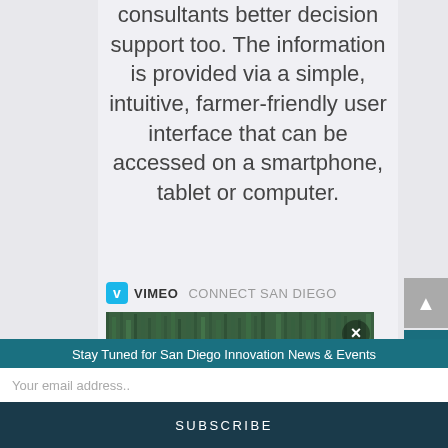consultants better decision support too. The information is provided via a simple, intuitive, farmer-friendly user interface that can be accessed on a smartphone, tablet or computer.
[Figure (screenshot): Vimeo Connect San Diego video embed thumbnail showing grass field with a close (X) button overlay]
Stay Tuned for San Diego Innovation News & Events
Your email address..
SUBSCRIBE